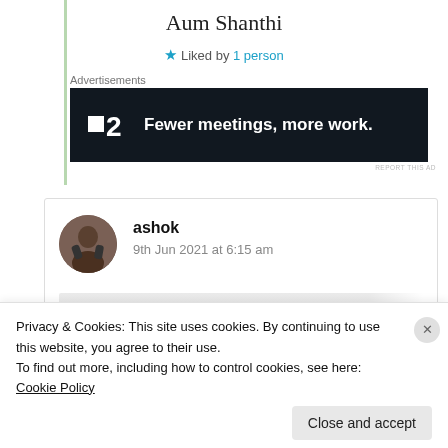Aum Shanthi
★ Liked by 1 person
Advertisements
[Figure (other): Advertisement banner: dark background with logo '■2' and text 'Fewer meetings, more work.']
REPORT THIS AD
ashok
9th Jun 2021 at 6:15 am
Privacy & Cookies: This site uses cookies. By continuing to use this website, you agree to their use.
To find out more, including how to control cookies, see here: Cookie Policy
Close and accept